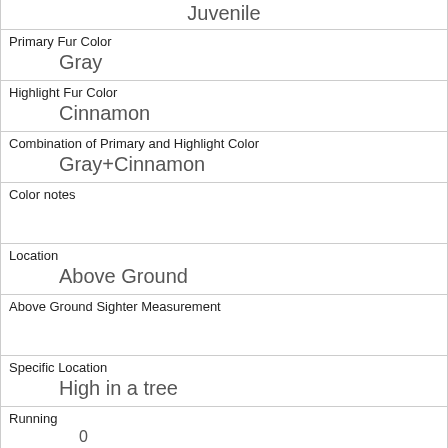| Juvenile |
| Primary Fur Color | Gray |
| Highlight Fur Color | Cinnamon |
| Combination of Primary and Highlight Color | Gray+Cinnamon |
| Color notes |  |
| Location | Above Ground |
| Above Ground Sighter Measurement |  |
| Specific Location | High in a tree |
| Running | 0 |
| Chasing | 0 |
| Climbing | 1 |